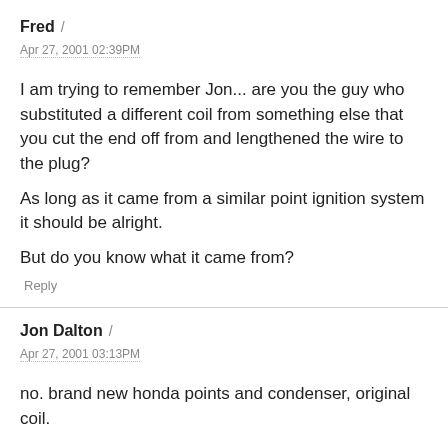Fred /
Apr 27, 2001 02:39PM
I am trying to remember Jon... are you the guy who substituted a different coil from something else that you cut the end off from and lengthened the wire to the plug?
As long as it came from a similar point ignition system it should be alright.
But do you know what it came from?
Reply
Jon Dalton /
Apr 27, 2001 03:13PM
no. brand new honda points and condenser, original coil.